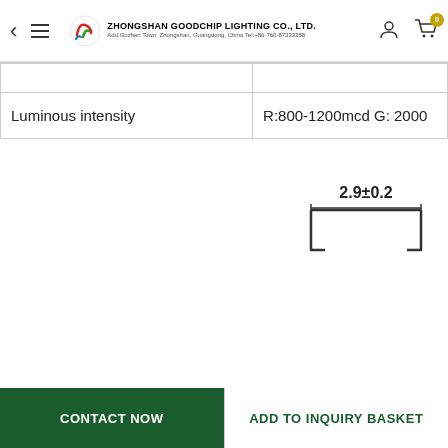ZHONGSHAN GOODCHIP LIGHTING CO., LTD.
| Property | Value |
| --- | --- |
| Luminous intensity | R:800-1200mcd G: 2000 |
[Figure (engineering-diagram): Dimension diagram showing a U-shaped bracket with width labeled 2.9±0.2]
CONTACT NOW
ADD TO INQUIRY BASKET